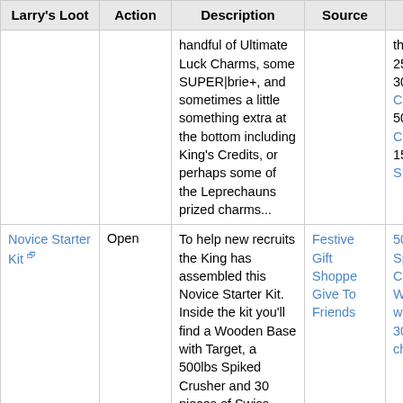| Larry's Loot | Action | Description | Source | Produces |
| --- | --- | --- | --- | --- |
|  |  | ...with gold, a handful of Ultimate Luck Charms, some SUPER|brie+, and sometimes a little something extra at the bottom including King's Credits, or perhaps some of the Leprechauns prized charms... |  | the following: 250,000 300 King's Credits 500 Rain Charms 150 SUPER|... |
| Novice Starter Kit [ext] | Open | To help new recruits the King has assembled this Novice Starter Kit. Inside the kit you'll find a Wooden Base with Target, a 500lbs Spiked Crusher and 30 pieces of Swiss Cheese. That... | Festive Gift Shoppe Give To Friends | 500 Pou... Spiked Crusher Wooden... with Targ... 30 Swiss cheese... |